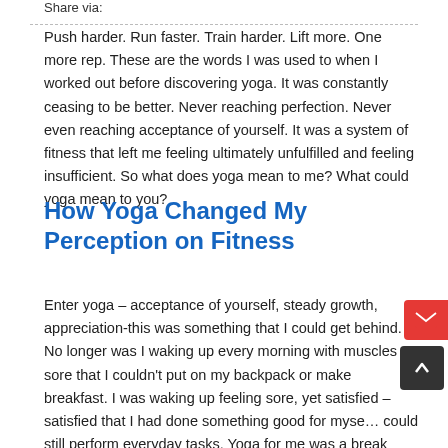Share via:
Push harder. Run faster. Train harder. Lift more. One more rep. These are the words I was used to when I worked out before discovering yoga. It was constantly ceasing to be better. Never reaching perfection. Never even reaching acceptance of yourself. It was a system of fitness that left me feeling ultimately unfulfilled and feeling insufficient. So what does yoga mean to me? What could yoga mean to you?
How Yoga Changed My Perception on Fitness
Enter yoga – acceptance of yourself, steady growth, appreciation-this was something that I could get behind. No longer was I waking up every morning with muscles so sore that I couldn't put on my backpack or make breakfast. I was waking up feeling sore, yet satisfied – satisfied that I had done something good for myself and could still perform everyday tasks. Yoga for me was a break from everyday life. Working out had always been an escape, but it now